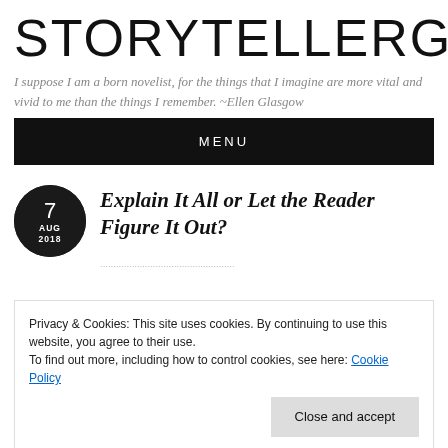STORYTELLERGIR
I suppose I am a born novelist, for the things that I imagine are more vital and vivid to me than the things I remember. ~Ellen Glasgow
MENU
[Figure (other): Circular date badge showing '7 AUG 2018' in white text on black circle]
Explain It All or Let the Reader Figure It Out?
Privacy & Cookies: This site uses cookies. By continuing to use this website, you agree to their use.
To find out more, including how to control cookies, see here: Cookie Policy
answer.